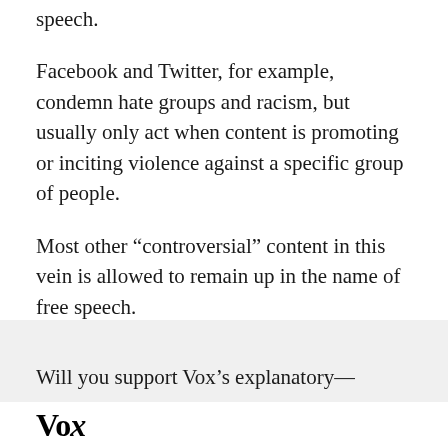speech.
Facebook and Twitter, for example, condemn hate groups and racism, but usually only act when content is promoting or inciting violence against a specific group of people.
Most other “controversial” content in this vein is allowed to remain up in the name of free speech.
Additional reporting by Tony Romm.
This article originally appeared on Recode.net.
Will you support Vox’s explanatory…
Vox